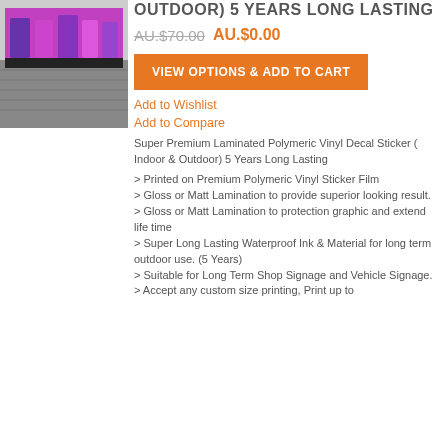[Figure (photo): Product image showing a shop window with a large custom vinyl decal sticker banner featuring characters]
OUTDOOR) 5 YEARS LONG LASTING
AU.$70.00 AU.$0.00
VIEW OPTIONS & ADD TO CART
Add to Wishlist
Add to Compare
Super Premium Laminated Polymeric Vinyl Decal Sticker ( Indoor & Outdoor) 5 Years Long Lasting
> Printed on Premium Polymeric Vinyl Sticker Film
> Gloss or Matt Lamination to provide superior looking result.
> Gloss or Matt Lamination to protection graphic and extend life time
> Super Long Lasting Waterproof Ink & Material for long term outdoor use. (5 Years)
> Suitable for Long Term Shop Signage and Vehicle Signage.
> Accept any custom size printing, Print up to